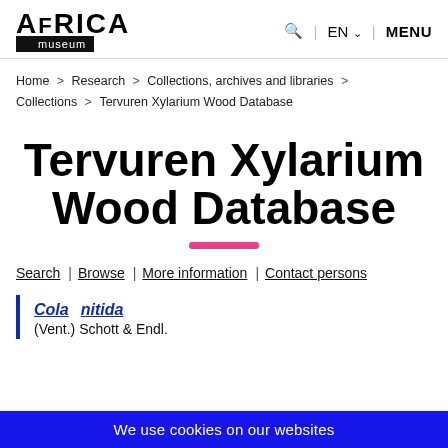AFRICA museum | Q | EN | MENU
Home > Research > Collections, archives and libraries > Collections > Tervuren Xylarium Wood Database
Tervuren Xylarium Wood Database
Search | Browse | More information | Contact persons
Cola nitida
(Vent.) Schott & Endl.
We use cookies on our websites